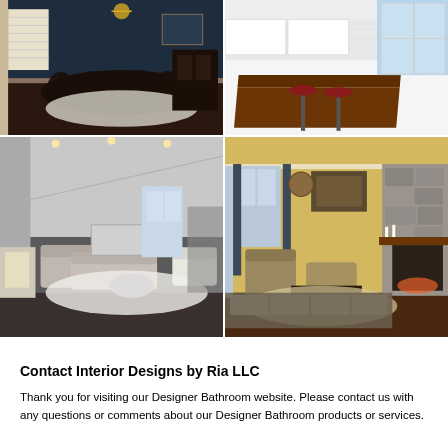[Figure (photo): Formal dining room with long dark wood table, chairs, chandelier, blue walls, dark hardwood floors and white rug]
[Figure (photo): Modern kitchen with white cabinets, dark wood island countertop, red bar stools, and bright windows]
[Figure (photo): Contemporary living room with gray sofas, ottoman, white rug, fireplace, and vaulted ceiling]
[Figure (photo): Traditional living room with yellow walls, stone fireplace, patterned armchairs, dark coffee table, and area rug]
Contact Interior Designs by Ria LLC
Thank you for visiting our Designer Bathroom website. Please contact us with any questions or comments about our Designer Bathroom products or services.